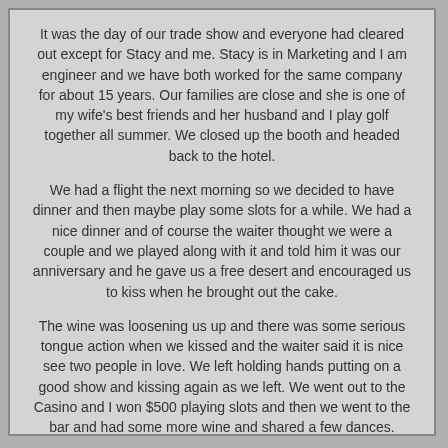It was the day of our trade show and everyone had cleared out except for Stacy and me. Stacy is in Marketing and I am engineer and we have both worked for the same company for about 15 years. Our families are close and she is one of my wife's best friends and her husband and I play golf together all summer. We closed up the booth and headed back to the hotel.
We had a flight the next morning so we decided to have dinner and then maybe play some slots for a while. We had a nice dinner and of course the waiter thought we were a couple and we played along with it and told him it was our anniversary and he gave us a free desert and encouraged us to kiss when he brought out the cake.
The wine was loosening us up and there was some serious tongue action when we kissed and the waiter said it is nice see two people in love. We left holding hands putting on a good show and kissing again as we left. We went out to the Casino and I won $500 playing slots and then we went to the bar and had some more wine and shared a few dances.
(more…)
Tags: las vegas convention fun